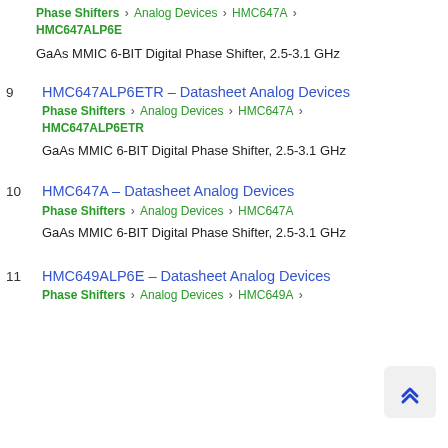Phase Shifters > Analog Devices > HMC647A > HMC647ALP6E
GaAs MMIC 6-BIT Digital Phase Shifter, 2.5-3.1 GHz
9 HMC647ALP6ETR — Datasheet Analog Devices
Phase Shifters > Analog Devices > HMC647A > HMC647ALP6ETR
GaAs MMIC 6-BIT Digital Phase Shifter, 2.5-3.1 GHz
10 HMC647A — Datasheet Analog Devices
Phase Shifters > Analog Devices > HMC647A
GaAs MMIC 6-BIT Digital Phase Shifter, 2.5-3.1 GHz
11 HMC649ALP6E — Datasheet Analog Devices
Phase Shifters > Analog Devices > HMC649A >